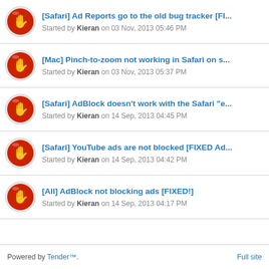[Safari] Ad Reports go to the old bug tracker [FI... Started by Kieran on 03 Nov, 2013 05:46 PM
[Mac] Pinch-to-zoom not working in Safari on s... Started by Kieran on 03 Nov, 2013 05:37 PM
[Safari] AdBlock doesn't work with the Safari "e... Started by Kieran on 14 Sep, 2013 04:45 PM
[Safari] YouTube ads are not blocked [FIXED Ad... Started by Kieran on 14 Sep, 2013 04:42 PM
[All] AdBlock not blocking ads [FIXED!] Started by Kieran on 14 Sep, 2013 04:17 PM
Powered by Tender™. Full site